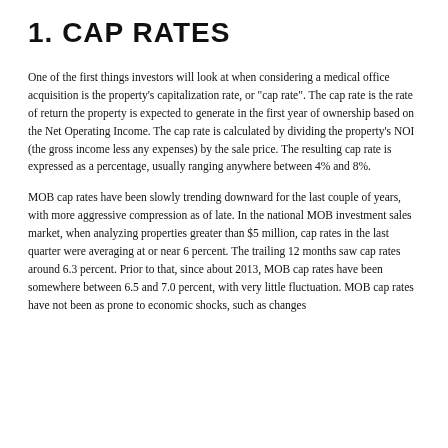1. CAP RATES
One of the first things investors will look at when considering a medical office acquisition is the property's capitalization rate, or "cap rate". The cap rate is the rate of return the property is expected to generate in the first year of ownership based on the Net Operating Income. The cap rate is calculated by dividing the property's NOI (the gross income less any expenses) by the sale price. The resulting cap rate is expressed as a percentage, usually ranging anywhere between 4% and 8%.
MOB cap rates have been slowly trending downward for the last couple of years, with more aggressive compression as of late. In the national MOB investment sales market, when analyzing properties greater than $5 million, cap rates in the last quarter were averaging at or near 6 percent. The trailing 12 months saw cap rates around 6.3 percent. Prior to that, since about 2013, MOB cap rates have been somewhere between 6.5 and 7.0 percent, with very little fluctuation. MOB cap rates have not been as prone to economic shocks, such as changes